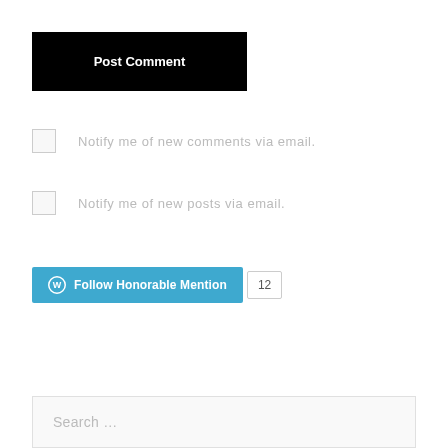[Figure (screenshot): Post Comment button — black background with white bold text]
Notify me of new comments via email.
Notify me of new posts via email.
[Figure (screenshot): Follow Honorable Mention WordPress follow button with count badge showing 12]
[Figure (screenshot): Search input field with placeholder text 'Search ...']